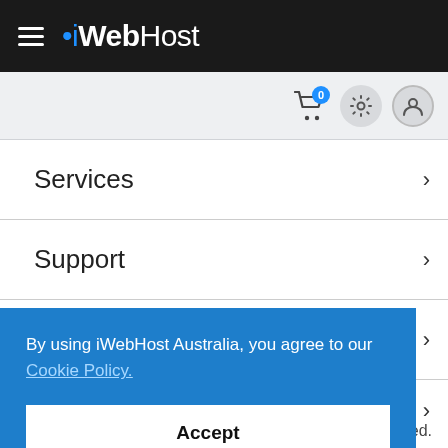iWebHost navigation bar
Services
Support
Company
By using iWebHost Australia, you agree to our Cookie Policy.
Accept
ed.